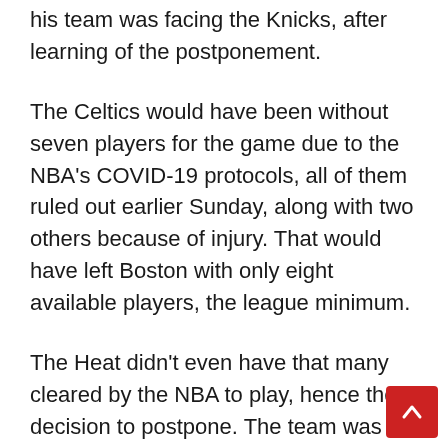his team was facing the Knicks, after learning of the postponement.
The Celtics would have been without seven players for the game due to the NBA's COVID-19 protocols, all of them ruled out earlier Sunday, along with two others because of injury. That would have left Boston with only eight available players, the league minimum.
The Heat didn't even have that many cleared by the NBA to play, hence the decision to postpone. The team was staying in Boston overnight while the tracing process continued and is scheduled to play in Philadelphia — another team with virus-related issues — on Tuesday and Thursday. The 76ers played only seven players Saturday in a